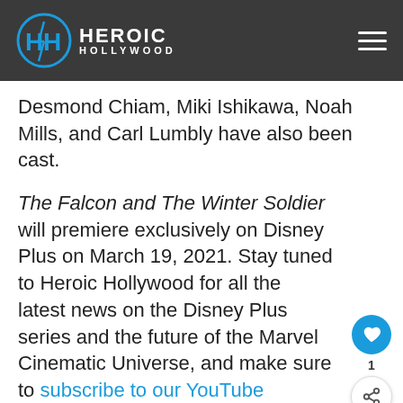Heroic Hollywood
Desmond Chiam, Miki Ishikawa, Noah Mills, and Carl Lumbly have also been cast.
The Falcon and The Winter Soldier will premiere exclusively on Disney Plus on March 19, 2021. Stay tuned to Heroic Hollywood for all the latest news on the Disney Plus series and the future of the Marvel Cinematic Universe, and make sure to subscribe to our YouTube channel for more content!